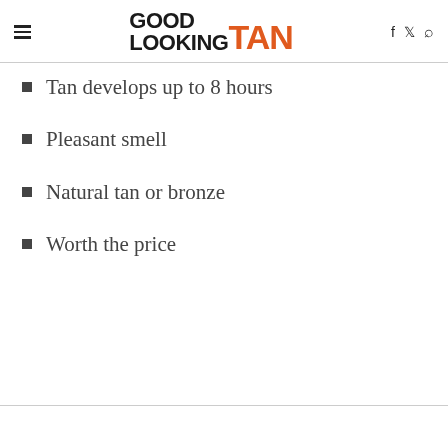GOOD LOOKING TAN
Tan develops up to 8 hours
Pleasant smell
Natural tan or bronze
Worth the price